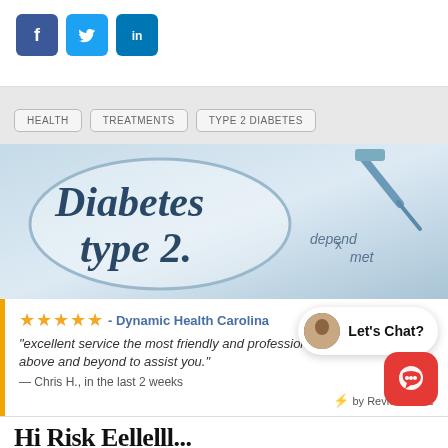[Figure (illustration): Social media share icons: Facebook (blue f), Twitter (blue bird), LinkedIn (blue in)]
HEALTH
TREATMENTS
TYPE 2 DIABETES
[Figure (photo): Close-up photo of text reading 'Diabetes type 2' on paper viewed through glasses, with a syringe/needle visible in the background, blue-toned medical image. Text 'ivels.' visible in top left and 'depend' and 'met' partially visible at bottom right.]
★★★★★ - Dynamic Health Carolina
"excellent service the most friendly and professional staff that goes above and beyond to assist you."
— Chris H., in the last 2 weeks
⚡ by Review Wave
[Figure (screenshot): Let's Chat? chat widget with female avatar photo]
Hi Risk Eellelll...